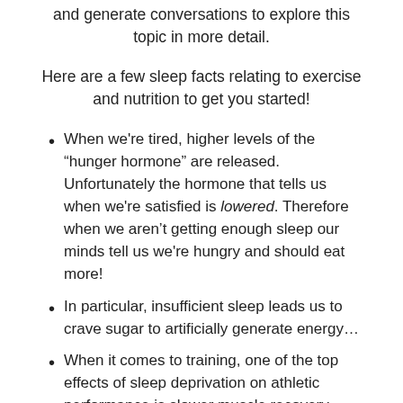and generate conversations to explore this topic in more detail.
Here are a few sleep facts relating to exercise and nutrition to get you started!
When we're tired, higher levels of the “hunger hormone” are released. Unfortunately the hormone that tells us when we're satisfied is lowered. Therefore when we aren’t getting enough sleep our minds tell us we're hungry and should eat more!
In particular, insufficient sleep leads us to crave sugar to artificially generate energy…
When it comes to training, one of the top effects of sleep deprivation on athletic performance is slower muscle recovery. Make sleep a priority in